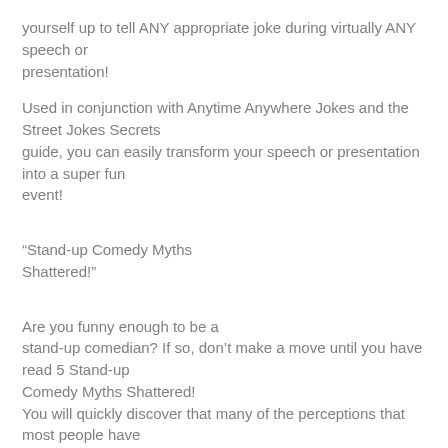yourself up to tell ANY appropriate joke during virtually ANY speech or presentation!
Used in conjunction with Anytime Anywhere Jokes and the Street Jokes Secrets guide, you can easily transform your speech or presentation into a super fun event!
“Stand-up Comedy Myths Shattered!”
Are you funny enough to be a stand-up comedian? If so, don’t make a move until you have read 5 Stand-up Comedy Myths Shattered! You will quickly discover that many of the perceptions that most people have